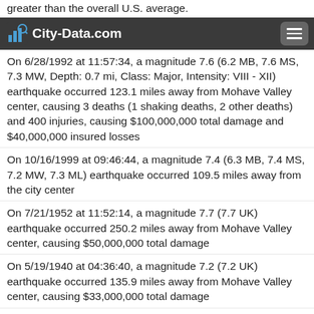greater than the overall U.S. average.
City-Data.com
On 6/28/1992 at 11:57:34, a magnitude 7.6 (6.2 MB, 7.6 MS, 7.3 MW, Depth: 0.7 mi, Class: Major, Intensity: VIII - XII) earthquake occurred 123.1 miles away from Mohave Valley center, causing 3 deaths (1 shaking deaths, 2 other deaths) and 400 injuries, causing $100,000,000 total damage and $40,000,000 insured losses
On 10/16/1999 at 09:46:44, a magnitude 7.4 (6.3 MB, 7.4 MS, 7.2 MW, 7.3 ML) earthquake occurred 109.5 miles away from the city center
On 7/21/1952 at 11:52:14, a magnitude 7.7 (7.7 UK) earthquake occurred 250.2 miles away from Mohave Valley center, causing $50,000,000 total damage
On 5/19/1940 at 04:36:40, a magnitude 7.2 (7.2 UK) earthquake occurred 135.9 miles away from Mohave Valley center, causing $33,000,000 total damage
On 12/31/1934 at 18:45:56, a magnitude 7.1 (7.1 UK) earthquake occurred 171.1 miles away from the city center
On 6/28/1992 at 15:05:30, a magnitude 6.9 (6.3 MB, 6.7 ...